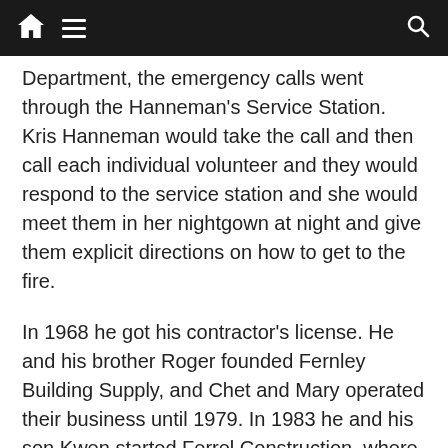[navigation bar with home, menu, and search icons]
Department, the emergency calls went through the Hanneman's Service Station. Kris Hanneman would take the call and then call each individual volunteer and they would respond to the service station and she would meet them in her nightgown at night and give them explicit directions on how to get to the fire.
In 1968 he got his contractor's license. He and his brother Roger founded Fernley Building Supply, and Chet and Mary operated their business until 1979. In 1983 he and his son Kwen started Ferrel Construction, where he continued to work, saying he never wanted to retire.
Chet is predeceased by his wife Mary; brothers, Joseph Ferrel, James Ferrel, Ralph Ferrel and Arthur